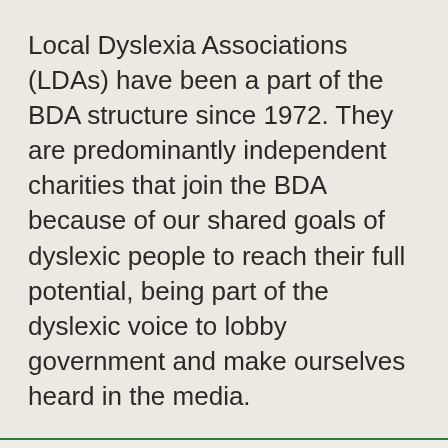Local Dyslexia Associations (LDAs) have been a part of the BDA structure since 1972. They are predominantly independent charities that join the BDA because of our shared goals of dyslexic people to reach their full potential, being part of the dyslexic voice to lobby government and make ourselves heard in the media.
This website places cookies on your computer to improve your experience. By continuing to browse the site, you are agreeing to our use of cookies. For more details, see our privacy policy.
I agree